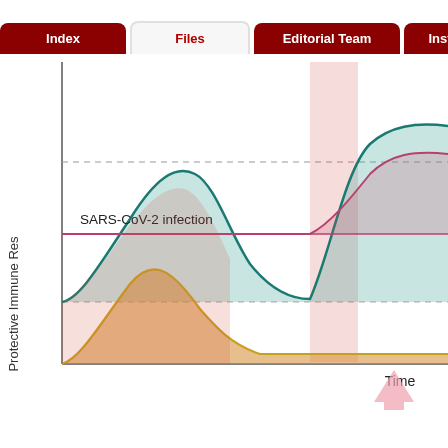Index | Files | Editorial Team | Instructions
[Figure (continuous-plot): Line/area chart showing Protective Immune Response over Time for SARS-CoV-2 infection. Three curves are shown: a teal/green area curve that rises early then dips and rises again after a second exposure event (shaded red vertical band); a pink/rose area curve that rises later and peaks higher after the second exposure; and a yellow/orange area curve that rises early then plateaus at a low level. A horizontal dashed line marks a threshold level. The label 'SARS-CoV-2 infection' appears in the chart area. The x-axis is labeled 'Time' and the y-axis is labeled 'Protective Immune Res[ponse]'.]